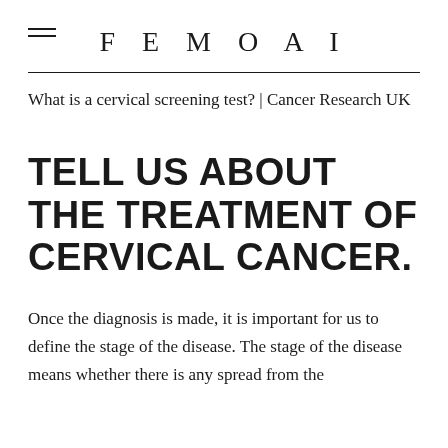FEMOAI
What is a cervical screening test? | Cancer Research UK
TELL US ABOUT THE TREATMENT OF CERVICAL CANCER.
Once the diagnosis is made, it is important for us to define the stage of the disease. The stage of the disease means whether there is any spread from the